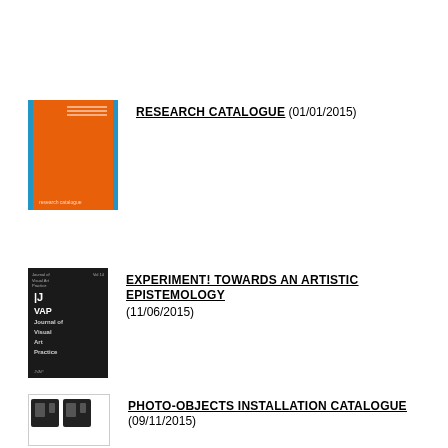[Figure (illustration): Orange book cover with blue spine stripes - Research Catalogue]
RESEARCH CATALOGUE (01/01/2015)
[Figure (illustration): Dark/black journal cover - Journal of Visual Art Practice (JVAP)]
EXPERIMENT! TOWARDS AN ARTISTIC EPISTEMOLOGY (11/06/2015)
[Figure (illustration): Partial view of a logo/cover for Photo-Objects Installation Catalogue]
PHOTO-OBJECTS INSTALLATION CATALOGUE (09/11/2015)